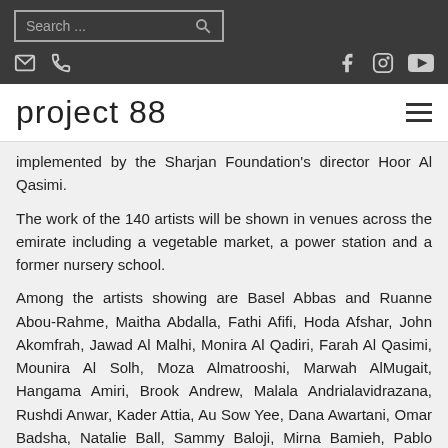Search ... [search icon] [email icon] [phone icon] [facebook icon] [instagram icon] [youtube icon]
project 88
implemented by the Sharjan Foundation's director Hoor Al Qasimi.
The work of the 140 artists will be shown in venues across the emirate including a vegetable market, a power station and a former nursery school.
Among the artists showing are Basel Abbas and Ruanne Abou-Rahme, Maitha Abdalla, Fathi Afifi, Hoda Afshar, John Akomfrah, Jawad Al Malhi, Monira Al Qadiri, Farah Al Qasimi, Mounira Al Solh, Moza Almatrooshi, Marwah AlMugait, Hangama Amiri, Brook Andrew, Malala Andrialavidrazana, Rushdi Anwar, Kader Attia, Au Sow Yee, Dana Awartani, Omar Badsha, Natalie Ball, Sammy Baloji, Mirna Bamieh, Pablo Bartholomew and Richard Bartholomew, Shiraz Bayjoo, Bahar Behbahani, Asma Belhamar, Diedrick Brackens, Maria Magdalena Campos-